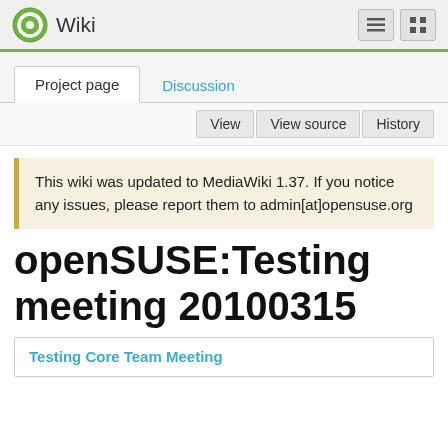Wiki
Project page  Discussion
View  View source  History
This wiki was updated to MediaWiki 1.37. If you notice any issues, please report them to admin[at]opensuse.org
openSUSE:Testing meeting 20100315
Testing Core Team Meeting